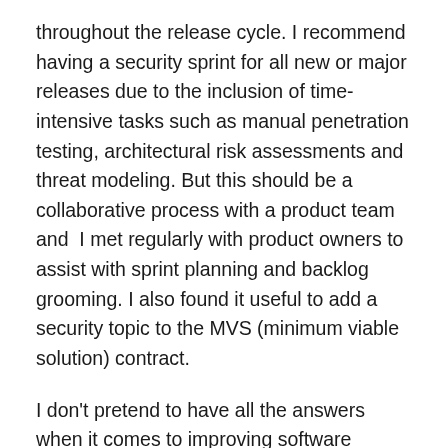throughout the release cycle. I recommend having a security sprint for all new or major releases due to the inclusion of time-intensive tasks such as manual penetration testing, architectural risk assessments and threat modeling. But this should be a collaborative process with a product team and  I met regularly with product owners to assist with sprint planning and backlog grooming. I also found it useful to add a security topic to the MVS (minimum viable solution) contract.
I don't pretend to have all the answers when it comes to improving software security, but spending time in the trenches with product development teams was an enlightening experience. The biggest takeaway: security teams have to grok the DevOps principle of collaboration if we want more secure software. To further this aim, I'm posting the set of user security stories and acceptance